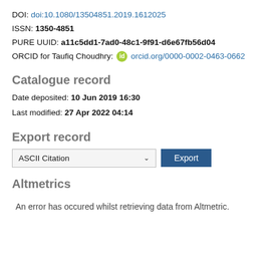DOI: doi:10.1080/13504851.2019.1612025
ISSN: 1350-4851
PURE UUID: a11c5dd1-7ad0-48c1-9f91-d6e67fb56d04
ORCID for Taufiq Choudhry: orcid.org/0000-0002-0463-0662
Catalogue record
Date deposited: 10 Jun 2019 16:30
Last modified: 27 Apr 2022 04:14
Export record
[Figure (screenshot): Dropdown selector showing 'ASCII Citation' with export button]
Altmetrics
An error has occured whilst retrieving data from Altmetric.